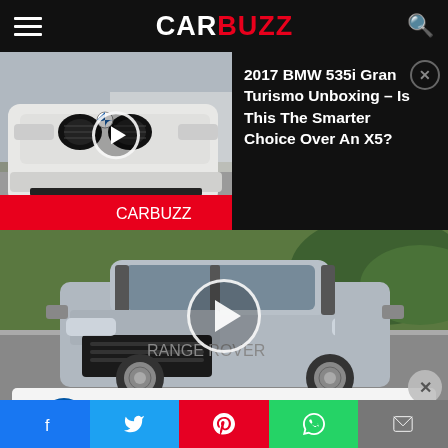CARBUZZ
[Figure (screenshot): Video thumbnail of a white BMW 535i Gran Turismo front view with CarBuzz branding bar at bottom]
2017 BMW 535i Gran Turismo Unboxing - Is This The Smarter Choice Over An X5?
[Figure (photo): Silver Range Rover Sport driving on a road with greenery in background, video play button overlay in center]
[Figure (screenshot): Advertisement banner: Lidl in-store shopping ad with navigation arrow icon]
f  Twitter  Pinterest  WhatsApp  Email